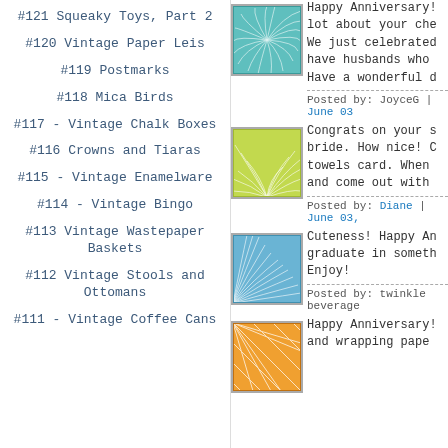#121 Squeaky Toys, Part 2
#120 Vintage Paper Leis
#119 Postmarks
#118 Mica Birds
#117 - Vintage Chalk Boxes
#116 Crowns and Tiaras
#115 - Vintage Enamelware
#114 - Vintage Bingo
#113 Vintage Wastepaper Baskets
#112 Vintage Stools and Ottomans
#111 - Vintage Coffee Cans
Happy Anniversary! lot about your che We just celebrated have husbands who Have a wonderful d
Posted by: JoyceG | June 03
Congrats on your s bride. How nice! C towels card. When and come out with
Posted by: Diane | June 03,
Cuteness! Happy An graduate in someth Enjoy!
Posted by: twinkle beverage
Happy Anniversary! and wrapping pape